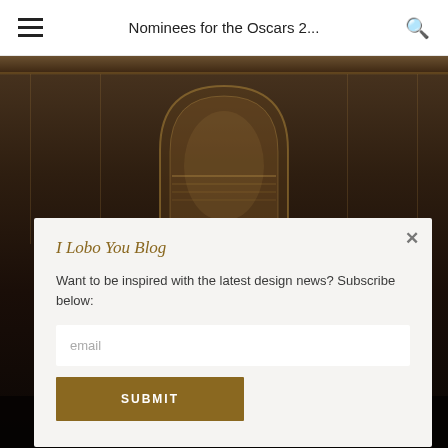Nominees for the Oscars 2...
[Figure (photo): Dark ornate interior with decorative wall panels and an arched mirror or doorway in the center, moody atmospheric lighting]
I Lobo You Blog
Want to be inspired with the latest design news? Subscribe below:
email
SUBMIT
IMPACTFUL MINDS